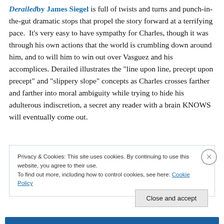Derailed by James Siegel is full of twists and turns and punch-in-the-gut dramatic stops that propel the story forward at a terrifying pace. It's very easy to have sympathy for Charles, though it was through his own actions that the world is crumbling down around him, and to will him to win out over Vasguez and his accomplices. Derailed illustrates the “line upon line, precept upon precept” and “slippery slope” concepts as Charles crosses farther and farther into moral ambiguity while trying to hide his adulterous indiscretion, a secret any reader with a brain KNOWS will eventually come out.
Privacy & Cookies: This site uses cookies. By continuing to use this website, you agree to their use.
To find out more, including how to control cookies, see here: Cookie Policy